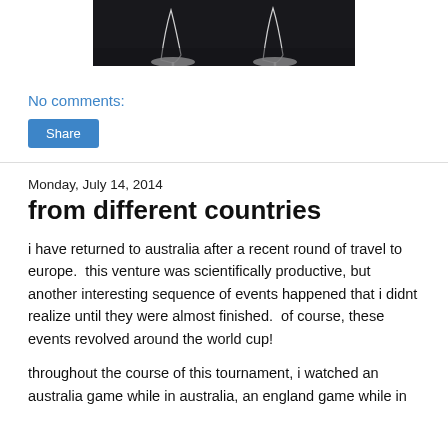[Figure (photo): Black and white photo of glowing light trails at feet of figures on dark landscape, cropped at top]
No comments:
Share
Monday, July 14, 2014
from different countries
i have returned to australia after a recent round of travel to europe.  this venture was scientifically productive, but another interesting sequence of events happened that i didnt realize until they were almost finished.  of course, these events revolved around the world cup!
throughout the course of this tournament, i watched an australia game while in australia, an england game while in